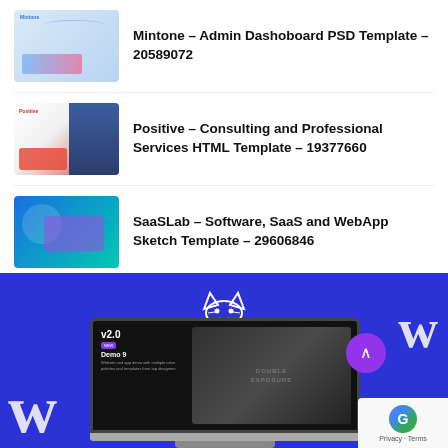Mintone – Admin Dashoboard PSD Template – 20589072
Positive – Consulting and Professional Services HTML Template – 19377660
SaaSLab – Software, SaaS and WebApp Sketch Template – 29606846
[Figure (screenshot): Blue banner section showing a website template with v2.0 and Demo 9 interface, double exposure imagery, decorative W letters, cat devil logo icon, purple scroll-up button, and reCAPTCHA badge with Privacy · Terms text]